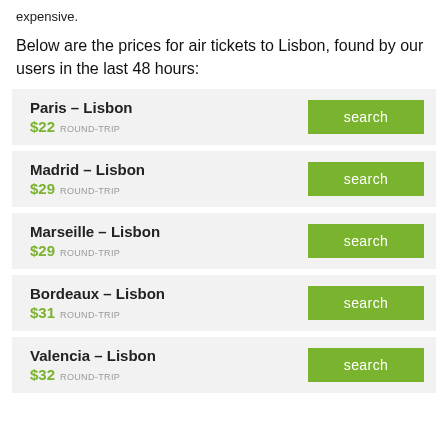expensive.
Below are the prices for air tickets to Lisbon, found by our users in the last 48 hours:
Paris — Lisbon $22 ROUND-TRIP search
Madrid — Lisbon $29 ROUND-TRIP search
Marseille — Lisbon $29 ROUND-TRIP search
Bordeaux — Lisbon $31 ROUND-TRIP search
Valencia — Lisbon $32 ROUND-TRIP search